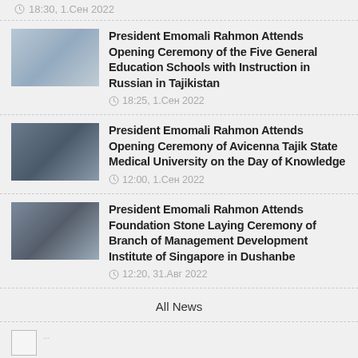18:30, 1.Сен 2022
President Emomali Rahmon Attends Opening Ceremony of the Five General Education Schools with Instruction in Russian in Tajikistan — 18:25, 1.Сен 2022
President Emomali Rahmon Attends Opening Ceremony of Avicenna Tajik State Medical University on the Day of Knowledge — 12:00, 1.Сен 2022
President Emomali Rahmon Attends Foundation Stone Laying Ceremony of Branch of Management Development Institute of Singapore in Dushanbe — 12:20, 31.Авг 2022
All News
[Figure (other): Small widget/logo square placeholder]